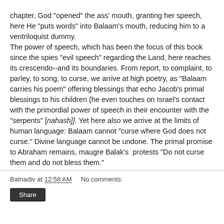chapter, God "opened" the ass' mouth, granting her speech, here He "puts words" into Balaam's mouth, reducing him to a ventriloquist dummy. The power of speech, which has been the focus of this book since the spies "evil speech" regarding the Land, here reaches its crescendo--and its boundaries. From report, to complaint, to parley, to song, to curse, we arrive at high poetry, as "Balaam carries his poem" offering blessings that echo Jacob's primal blessings to his children (he even touches on Israel's contact with the primordial power of speech in their encounter with the "serpents" [nahash]]. Yet here also we arrive at the limits of human language: Balaam cannot "curse where God does not curse." Divine language cannot be undone. The primal promise to Abraham remains, maugre Balak's  protests "Do not curse them and do not bless them."
Batnadiv at 12:58 AM    No comments: